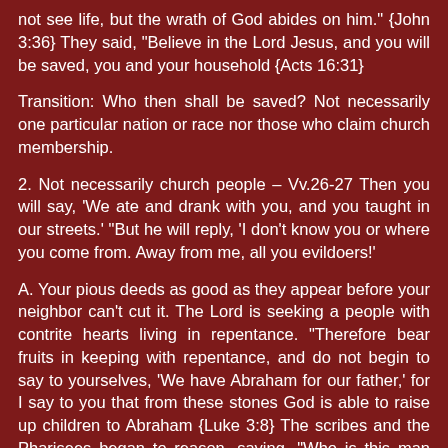not see life, but the wrath of God abides on him." {John 3:36} They said, "Believe in the Lord Jesus, and you will be saved, you and your household {Acts 16:31}
Transition: Who then shall be saved? Not necessarily one particular nation or race nor those who claim church membership.
2. Not necessarily church people – Vv.26-27 Then you will say, 'We ate and drank with you, and you taught in our streets.' "But he will reply, 'I don't know you or where you come from. Away from me, all you evildoers!'
A. Your pious deeds as good as they appear before your neighbor can't cut it. The Lord is seeking a people with contrite hearts living in repentance. "Therefore bear fruits in keeping with repentance, and do not begin to say to yourselves, 'We have Abraham for our father,' for I say to you that from these stones God is able to raise up children to Abraham {Luke 3:8} The scribes and the Pharisees began to reason, saying, "Who is this man who speaks blasphemies?